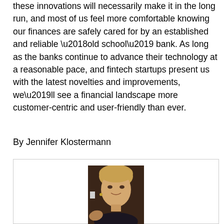these innovations will necessarily make it in the long run, and most of us feel more comfortable knowing our finances are safely cared for by an established and reliable ‘old school’ bank. As long as the banks continue to advance their technology at a reasonable pace, and fintech startups present us with the latest novelties and improvements, we’ll see a financial landscape more customer-centric and user-friendly than ever.
By Jennifer Klostermann
[Figure (photo): Portrait photo of Jennifer Klostermann, a woman with blonde hair, smiling, wearing a dark outfit, inside a bordered box]